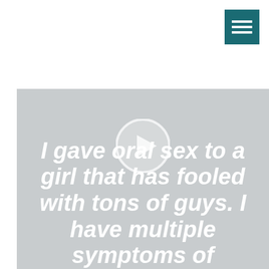[Figure (screenshot): Teal/dark cyan hamburger menu icon button in top right corner]
[Figure (screenshot): Video thumbnail with grey background showing a play button icon and overlaid bold white italic text reading: I gave oral sex to a girl that has fooled with tons of guys. I have multiple symptoms of]